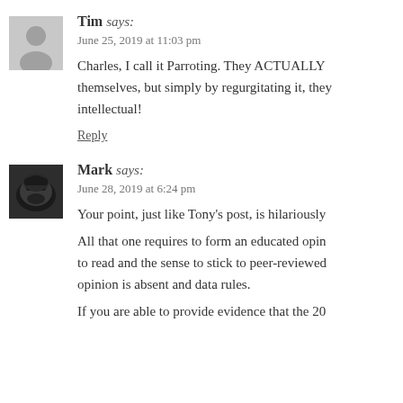Tim says: June 25, 2019 at 11:03 pm
Charles, I call it Parroting. They ACTUALLY themselves, but simply by regurgitating it, they intellectual!
Reply
Mark says: June 28, 2019 at 6:24 pm
Your point, just like Tony's post, is hilariously
All that one requires to form an educated opin to read and the sense to stick to peer-reviewed opinion is absent and data rules.
If you are able to provide evidence that the 20